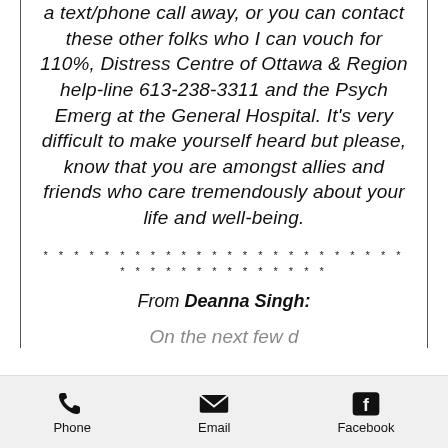a text/phone call away, or you can contact these other folks who I can vouch for 110%, Distress Centre of Ottawa & Region help-line 613-238-3311 and the Psych Emerg at the General Hospital. It's very difficult to make yourself heard but please, know that you are amongst allies and friends who care tremendously about your life and well-being.
* * * * * * * * * * * * * * * * * * * * * * * *
* * * * * * * * * * * * * *
From Deanna Singh:
Phone  Email  Facebook